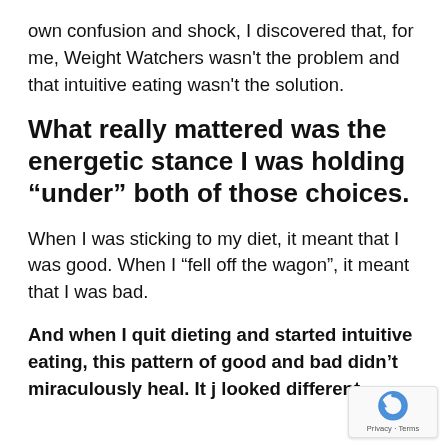own confusion and shock, I discovered that, for me, Weight Watchers wasn't the problem and that intuitive eating wasn't the solution.
What really mattered was the energetic stance I was holding “under” both of those choices.
When I was sticking to my diet, it meant that I was good. When I “fell off the wagon”, it meant that I was bad.
And when I quit dieting and started intuitive eating, this pattern of good and bad didn’t miraculously heal. It j looked different.